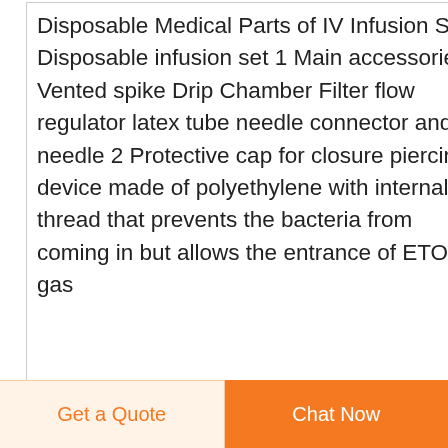Disposable Medical Parts of IV Infusion Set Disposable infusion set 1 Main accessories Vented spike Drip Chamber Filter flow regulator latex tube needle connector and needle 2 Protective cap for closure piercing device made of polyethylene with internal thread that prevents the bacteria from coming in but allows the entrance of ETO gas
[Figure (other): Dark blue circular button with white upward arrow (scroll to top button)]
[Figure (other): Small product image placeholder (broken image icon)]
China Disposable I.V
Get a Quote
Chat Now